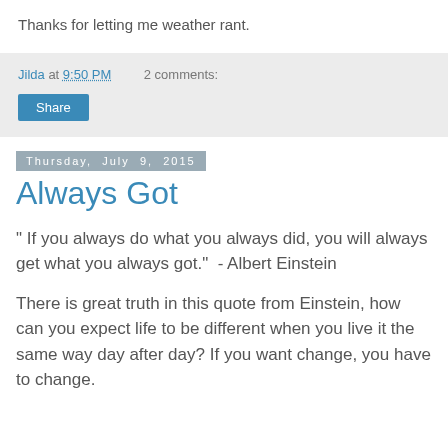Thanks for letting me weather rant.
Jilda at 9:50 PM    2 comments:
Share
Thursday, July 9, 2015
Always Got
" If you always do what you always did, you will always get what you always got."  - Albert Einstein
There is great truth in this quote from Einstein, how can you expect life to be different when you live it the same way day after day? If you want change, you have to change.